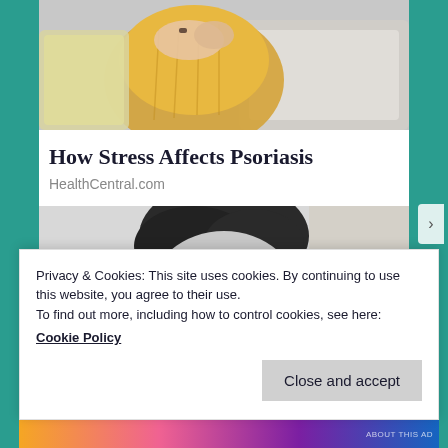[Figure (photo): Partial view of a person in a yellow knit sweater sitting on a couch, possibly scratching or holding their hands together]
How Stress Affects Psoriasis
HealthCentral.com
[Figure (photo): Black and white close-up photo of a person's face, partially obscured, looking upward]
Privacy & Cookies: This site uses cookies. By continuing to use this website, you agree to their use.
To find out more, including how to control cookies, see here:
Cookie Policy
Close and accept